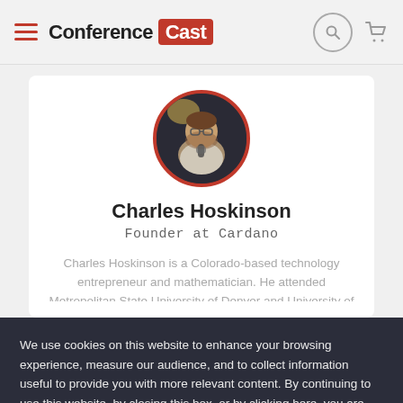Conference Cast
Charles Hoskinson
Founder at Cardano
Charles Hoskinson is a Colorado-based technology entrepreneur and mathematician. He attended Metropolitan State University of Denver and University of
We use cookies on this website to enhance your browsing experience, measure our audience, and to collect information useful to provide you with more relevant content. By continuing to use this website, by closing this box, or by clicking here, you are indicating your consent to our use of cookies.
I AGREE